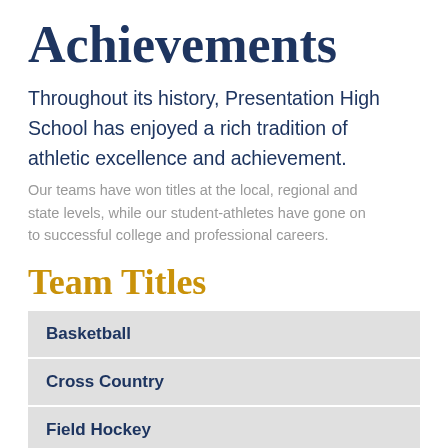Achievements
Throughout its history, Presentation High School has enjoyed a rich tradition of athletic excellence and achievement.
Our teams have won titles at the local, regional and state levels, while our student-athletes have gone on to successful college and professional careers.
Team Titles
Basketball
Cross Country
Field Hockey
Golf